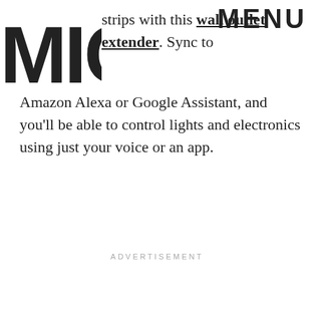[Figure (logo): MIC logo in large bold black condensed letters overlaid on top-left corner]
MENU
strips with this wall outlet extender. Sync to Amazon Alexa or Google Assistant, and you'll be able to control lights and electronics using just your voice or an app.
ADVERTISEMENT